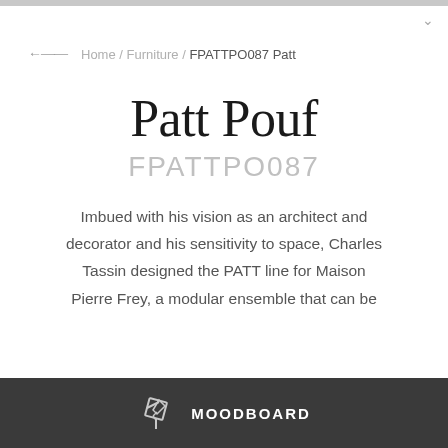Home / Furniture / FPATTPO087 Patt
Patt Pouf
FPATTPO087
Imbued with his vision as an architect and decorator and his sensitivity to space, Charles Tassin designed the PATT line for Maison Pierre Frey, a modular ensemble that can be
MOODBOARD